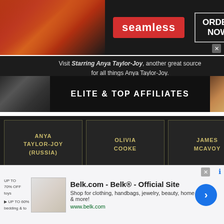[Figure (screenshot): Seamless food delivery advertisement banner with pizza image on left, red Seamless logo in center, ORDER NOW button on right, on dark background]
Visit Starring Anya Taylor-Joy, another great source for all things Anya Taylor-Joy.
[Figure (screenshot): Elite & Top Affiliates banner with dark background, actress photos on left and right sides, bold white text ELITE & TOP AFFILIATES in center]
ANYA TAYLOR-JOY (RUSSIA)
OLIVIA COOKE
JAMES MCAVOY
HALEY LU RICHARDSON
THOMASIN MCKENZIE
PHOEBE DYNEVOR
KAYA
DANE
LIAM
Email
Website
Notify me
Notify me
Submit Com
Comments RS
[Figure (screenshot): Belk.com advertisement: Belk® Official Site - Shop for clothing, handbags, jewelry, beauty, home & more! www.belk.com with product thumbnail image and navigation arrow]